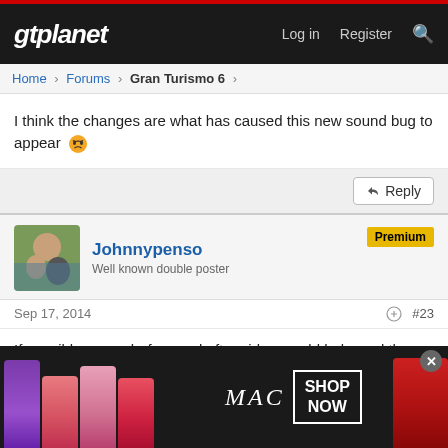gtplanet — Log in  Register
Home › Forums › Gran Turismo 6 ›
I think the changes are what has caused this new sound bug to appear 😠
Reply
Johnnypenso
Well known double poster
Premium
Sep 17, 2014  #23
If possible, some before and after video would help seal the deal on potential sound changes.
[Figure (advertisement): MAC cosmetics advertisement showing lipsticks with SHOP NOW button]